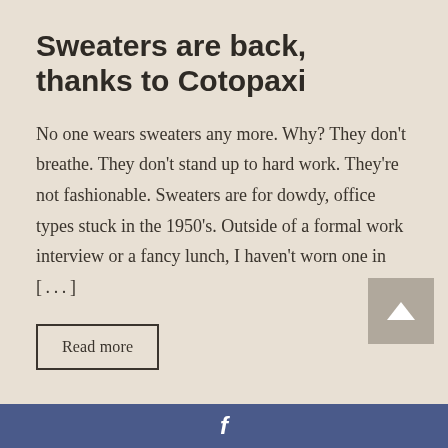Sweaters are back, thanks to Cotopaxi
No one wears sweaters any more. Why? They don't breathe. They don't stand up to hard work. They're not fashionable. Sweaters are for dowdy, office types stuck in the 1950's. Outside of a formal work interview or a fancy lunch, I haven't worn one in [...]
Read more
f